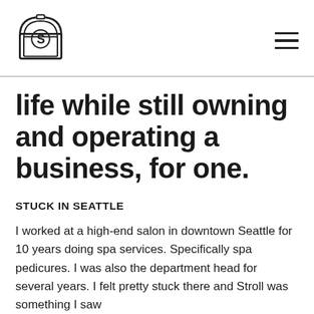[Figure (logo): Stroll brand logo — an arch/tombstone shape with the letter S inside a circle, rendered in outline style]
life while still owning and operating a business, for one.
STUCK IN SEATTLE
I worked at a high-end salon in downtown Seattle for 10 years doing spa services. Specifically spa pedicures. I was also the department head for several years. I felt pretty stuck there and Stroll was something I saw